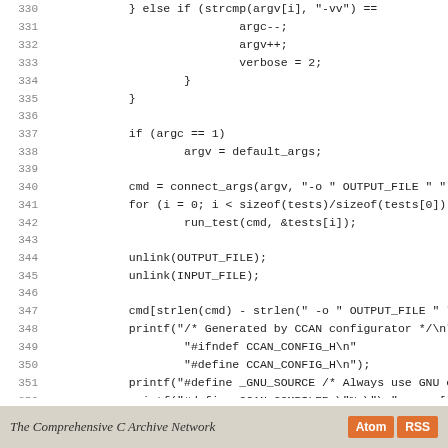Source code listing lines 330-358 showing C code for a CCAN configurator program
The Comprehensive C Archive Network | Atom | RSS